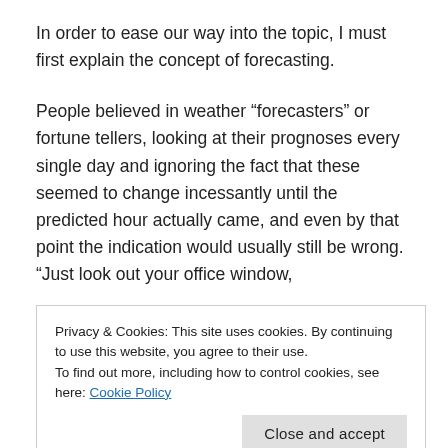In order to ease our way into the topic, I must first explain the concept of forecasting.
People believed in weather “forecasters” or fortune tellers, looking at their prognoses every single day and ignoring the fact that these seemed to change incessantly until the predicted hour actually came, and even by that point the indication would usually still be wrong. “Just look out your office window,
Privacy & Cookies: This site uses cookies. By continuing to use this website, you agree to their use.
To find out more, including how to control cookies, see here: Cookie Policy
millions of euros’ worth of trades, based on ‘weather